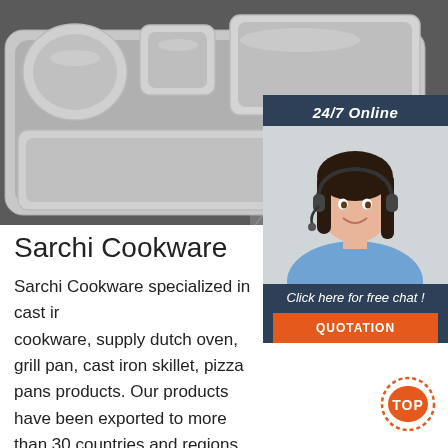[Figure (photo): Black and white photo of stainless steel divided food tray/plate with multiple compartments on a geometric patterned surface]
[Figure (infographic): Customer service widget with '24/7 Online' header, photo of woman with headset smiling, 'Click here for free chat!' text, and orange QUOTATION button]
Sarchi Cookware
Sarchi Cookware specialized in cast iron cookware, supply dutch oven, grill pan, cast iron skillet, pizza pans products. Our products have been exported to more than 30 countries and regions.
[Figure (logo): Orange TOP button with dotted circle]